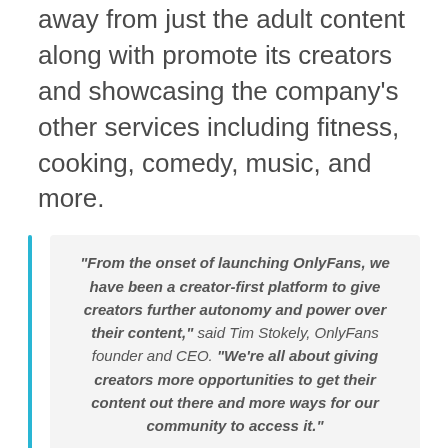away from just the adult content along with promote its creators and showcasing the company's other services including fitness, cooking, comedy, music, and more.
“From the onset of launching OnlyFans, we have been a creator-first platform to give creators further autonomy and power over their content,” said Tim Stokely, OnlyFans founder and CEO. “We’re all about giving creators more opportunities to get their content out there and more ways for our community to access it.”
Launched back in January, to showcase the creator’s content OFTV library has more than 800 videos from over 100 creators. With this